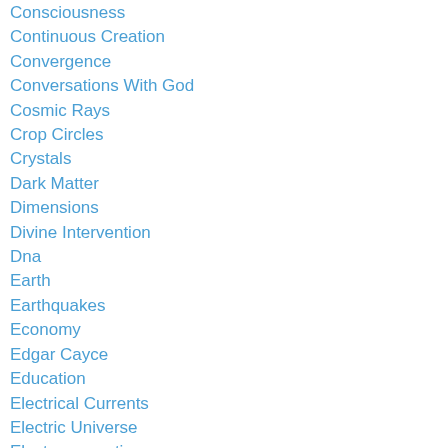Consciousness
Continuous Creation
Convergence
Conversations With God
Cosmic Rays
Crop Circles
Crystals
Dark Matter
Dimensions
Divine Intervention
Dna
Earth
Earthquakes
Economy
Edgar Cayce
Education
Electrical Currents
Electric Universe
Electromagnetic
Electrons